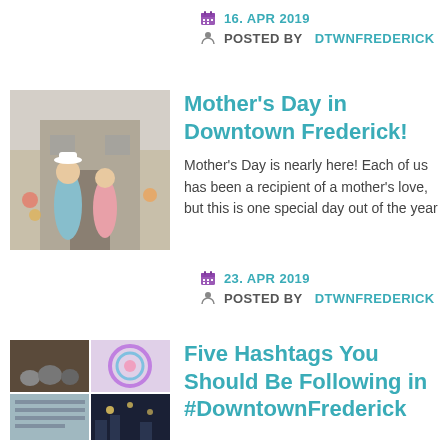📅 16. APR 2019 | 👤 POSTED BY DTWNFREDERICK
[Figure (photo): Two women standing outdoors, one in a light blue t-shirt, one in a pink shirt, at what appears to be a street event]
Mother's Day in Downtown Frederick!
Mother's Day is nearly here! Each of us has been a recipient of a mother's love, but this is one special day out of the year
📅 23. APR 2019 | 👤 POSTED BY DTWNFREDERICK
[Figure (photo): Collage of multiple photos showing downtown Frederick scenes including people, colorful art, and nighttime shots]
Five Hashtags You Should Be Following in #DowntownFrederick